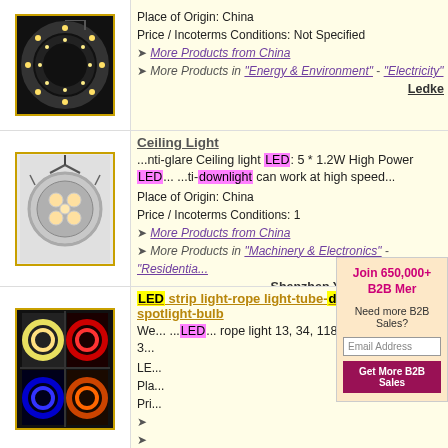[Figure (photo): LED strip light product image on dark background]
Place of Origin: China
Price / Incoterms Conditions: Not Specified
► More Products from China
► More Products in "Energy & Environment" - "Electricity"
Ledke
[Figure (photo): Ceiling light / LED downlight product image]
Ceiling Light
...nti-glare Ceiling light LED: 5 * 1.2W High Power LED... ...ti-downlight can work at high speed...
Place of Origin: China
Price / Incoterms Conditions: 1
► More Products from China
► More Products in "Machinery & Electronics" - "Residential..."
Shenzhen Yanmei Photoelect
[Figure (photo): LED strip light-rope light-tube product image with multiple colors]
LED strip light-rope light-tube-downlight-spotlight-bulb
We... ...LED... rope light 13, 34, 118... Wattage: 1W 3...
LE...
Pla...
Pri...
[Figure (infographic): B2B popup overlay: Join 650,000+ B2B Members. Need more B2B Sales? Email Address field and Get More B2B Sales button.]
[Figure (photo): LED downlight product image, white round fixture]
LE...
LE...
Pla...
Pri...
►
►
Le...